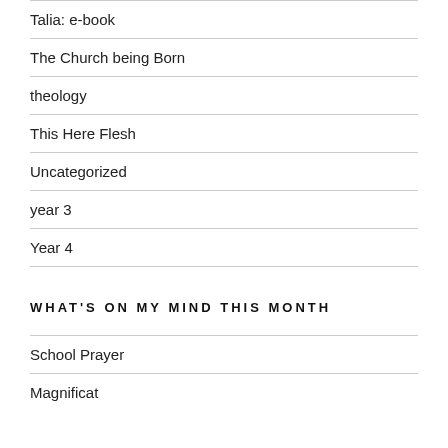Talia: e-book
The Church being Born
theology
This Here Flesh
Uncategorized
year 3
Year 4
WHAT'S ON MY MIND THIS MONTH
School Prayer
Magnificat